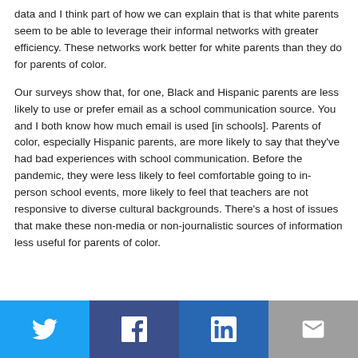data and I think part of how we can explain that is that white parents seem to be able to leverage their informal networks with greater efficiency. These networks work better for white parents than they do for parents of color.
Our surveys show that, for one, Black and Hispanic parents are less likely to use or prefer email as a school communication source. You and I both know how much email is used [in schools]. Parents of color, especially Hispanic parents, are more likely to say that they've had bad experiences with school communication. Before the pandemic, they were less likely to feel comfortable going to in-person school events, more likely to feel that teachers are not responsive to diverse cultural backgrounds. There's a host of issues that make these non-media or non-journalistic sources of information less useful for parents of color.
[Figure (other): Social sharing buttons row: Twitter (blue), Facebook (dark blue), LinkedIn (blue), Email (gray)]